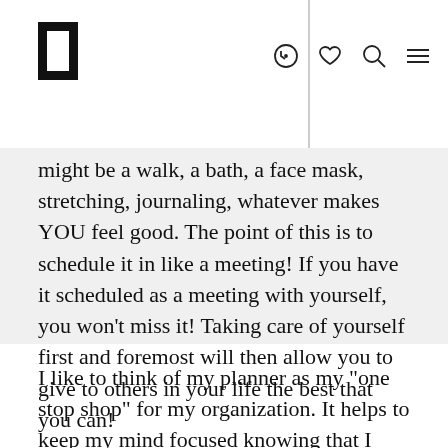H [logo] with navigation icons: clock, heart, search, menu
might be a walk, a bath, a face mask, stretching, journaling, whatever makes YOU feel good. The point of this is to schedule it in like a meeting! If you have it scheduled as a meeting with yourself, you won’t miss it! Taking care of yourself first and foremost will then allow you to give to others in your life the best that you can!
I like to think of my planner as my “one stop shop” for my organization. It helps to keep my mind focused knowing that I have everything (from home tasks to business meetings and my workouts)